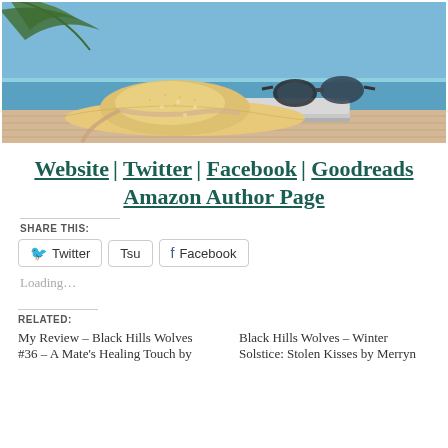[Figure (photo): A beach scene photo showing a straw sun hat, sunglasses resting on a book, with a blue ocean and palm leaves in the background on a wooden surface.]
Website | Twitter | Facebook | Goodreads Amazon Author Page
SHARE THIS:
Twitter  Tsu  Facebook
Loading...
RELATED:
My Review – Black Hills Wolves #36 – A Mate's Healing Touch by
Black Hills Wolves – Winter Solstice: Stolen Kisses by Merryn